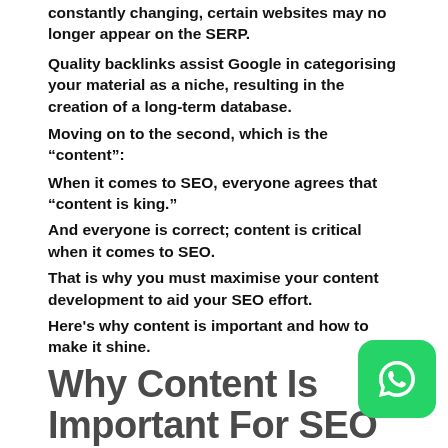constantly changing, certain websites may no longer appear on the SERP.
Quality backlinks assist Google in categorising your material as a niche, resulting in the creation of a long-term database.
Moving on to the second, which is the “content”:
When it comes to SEO, everyone agrees that “content is king.”
And everyone is correct; content is critical when it comes to SEO.
That is why you must maximise your content development to aid your SEO effort.
Here's why content is important and how to make it shine.
Why Content Is Important For SEO
SEO is the practice of obtaining organic traffic to your website by developing a user-friendly, technically sound online experience. Part of that experience is tailoring your target audience's content to be informative, engaging, and valuable. The content on your website attracts visitors, keeps them there, and converts them into customers.
[Figure (logo): WhatsApp icon badge in green rounded rectangle]